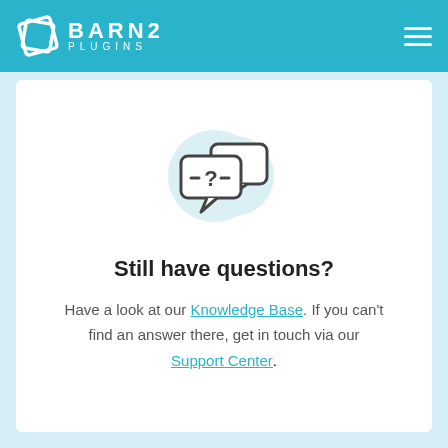BARN2 PLUGINS
[Figure (illustration): Two overlapping speech bubbles with a question mark and dashes, on a light blue circular background]
Still have questions?
Have a look at our Knowledge Base. If you can't find an answer there, get in touch via our Support Center.